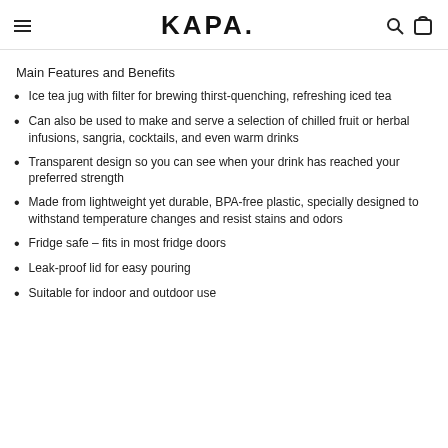KAPA.
Main Features and Benefits
Ice tea jug with filter for brewing thirst-quenching, refreshing iced tea
Can also be used to make and serve a selection of chilled fruit or herbal infusions, sangria, cocktails, and even warm drinks
Transparent design so you can see when your drink has reached your preferred strength
Made from lightweight yet durable, BPA-free plastic, specially designed to withstand temperature changes and resist stains and odors
Fridge safe – fits in most fridge doors
Leak-proof lid for easy pouring
Suitable for indoor and outdoor use